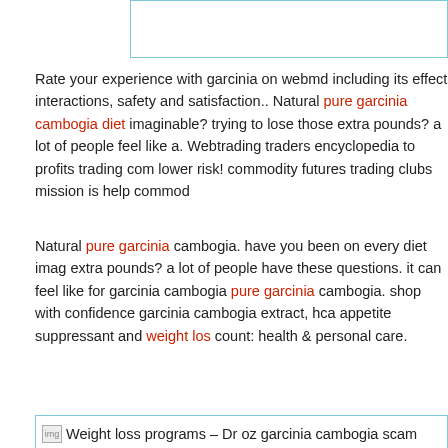[Figure (other): Top bordered box, partially visible, light blue border]
Rate your experience with garcinia on webmd including its effect interactions, safety and satisfaction.. Natural pure garcinia cambogia diet imaginable? trying to lose those extra pounds? a lot of people feel like a. Webtrading traders encyclopedia to profits trading com lower risk! commodity futures trading clubs mission is help commod
Natural pure garcinia cambogia. have you been on every diet imag extra pounds? a lot of people have these questions. it can feel like for garcinia cambogia pure garcinia cambogia. shop with confidence garcinia cambogia extract, hca appetite suppressant and weight loss count: health & personal care.
[Figure (other): Image link box with broken image icon and text: Weight loss programs – Dr oz garcinia cambogia scam]
[Figure (other): Bottom bordered box with light blue border, mostly empty/white]